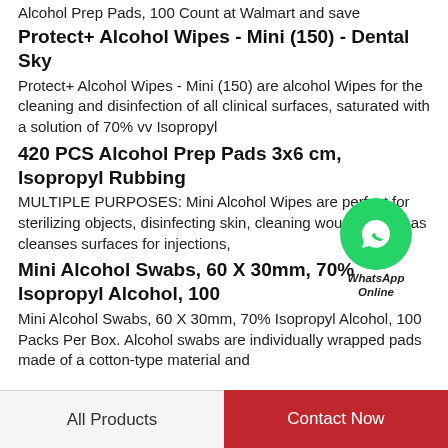Alcohol Prep Pads, 100 Count at Walmart and save
Protect+ Alcohol Wipes - Mini (150) - Dental Sky
Protect+ Alcohol Wipes - Mini (150) are alcohol Wipes for the cleaning and disinfection of all clinical surfaces, saturated with a solution of 70% vv Isopropyl
420 PCS Alcohol Prep Pads 3x6 cm, Isopropyl Rubbing
MULTIPLE PURPOSES: Mini Alcohol Wipes are perfect for sterilizing objects, disinfecting skin, cleaning wounds, such as cleanses surfaces for injections,
[Figure (logo): WhatsApp green circle logo with phone icon, with text 'WhatsApp Online' below]
Mini Alcohol Swabs, 60 X 30mm, 70% Isopropyl Alcohol, 100
Mini Alcohol Swabs, 60 X 30mm, 70% Isopropyl Alcohol, 100 Packs Per Box. Alcohol swabs are individually wrapped pads made of a cotton-type material and
All Products   Contact Now